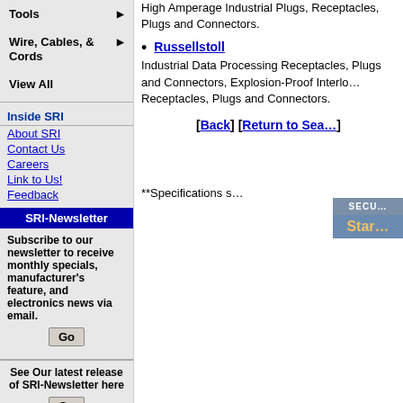Tools
Wire, Cables, & Cords
View All
Inside SRI
About SRI
Contact Us
Careers
Link to Us!
Feedback
SRI-Newsletter
Subscribe to our newsletter to receive monthly specials, manufacturer's feature, and electronics news via email.
See Our latest release of SRI-Newsletter here
View Our List of Archived Newsletter Articles
High Amperage Industrial Plugs, Receptacles, Plugs and Connectors.
Russellstoll
Industrial Data Processing Receptacles, Plugs and Connectors, Explosion-Proof Interlocking Receptacles, Plugs and Connectors.
[Back] [Return to Sea...
**Specifications s...